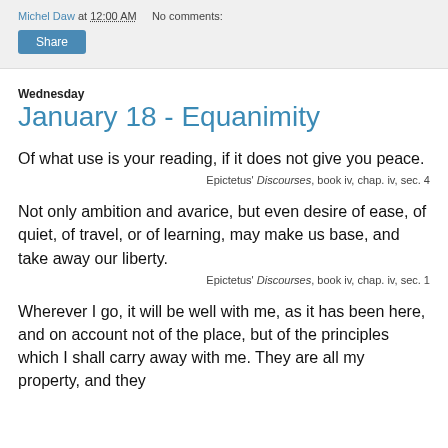Michel Daw at 12:00 AM   No comments:
Share
Wednesday
January 18 - Equanimity
Of what use is your reading, if it does not give you peace.
Epictetus' Discourses, book iv, chap. iv, sec. 4
Not only ambition and avarice, but even desire of ease, of quiet, of travel, or of learning, may make us base, and take away our liberty.
Epictetus' Discourses, book iv, chap. iv, sec. 1
Wherever I go, it will be well with me, as it has been here, and on account not of the place, but of the principles which I shall carry away with me. They are all my property, and they